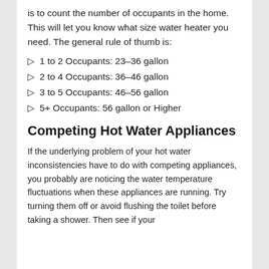is to count the number of occupants in the home. This will let you know what size water heater you need. The general rule of thumb is:
1 to 2 Occupants: 23–36 gallon
2 to 4 Occupants: 36–46 gallon
3 to 5 Occupants: 46–56 gallon
5+ Occupants: 56 gallon or Higher
Competing Hot Water Appliances
If the underlying problem of your hot water inconsistencies have to do with competing appliances, you probably are noticing the water temperature fluctuations when these appliances are running. Try turning them off or avoid flushing the toilet before taking a shower. Then see if your